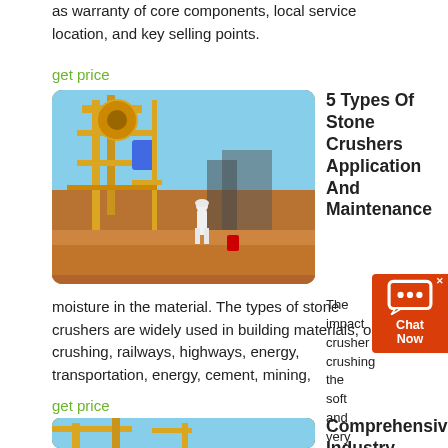as warranty of core components, local service location, and key selling points.
get price
[Figure (photo): Large yellow industrial stone crusher machine on a construction/mining site with a worker in white hardhat walking away, red dirt ground, blue sky background.]
5 Types Of Stone Crushers Application And Maintenance
The impact crusher crushing the soft and very hard materials, even if there is moisture in the material. The types of stone crushers are widely used in building materials, ore crushing, railways, highways, energy, transportation, energy, cement, mining,
get price
[Figure (photo): Yellow industrial crane or crusher equipment against a blue sky, close-up view from below.]
Comprehensive Industry Document Stone Crushers